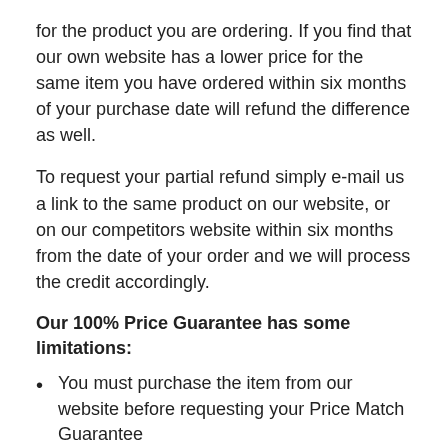for the product you are ordering.  If you find that our own website has a lower price for the same item you have ordered within six months of your purchase date will refund the difference as well.
To request your partial refund simply e-mail us a link to the same product on our website, or on our competitors website within six months from the date of your order and we will process the credit accordingly.
Our 100% Price Guarantee has some limitations:
You must purchase the item from our website before requesting your Price Match Guarantee
Promotions such as rebates and buy one, get one free offers are not eligible
The item must be in stock on the competitors website
The competitor must be an online store, they may